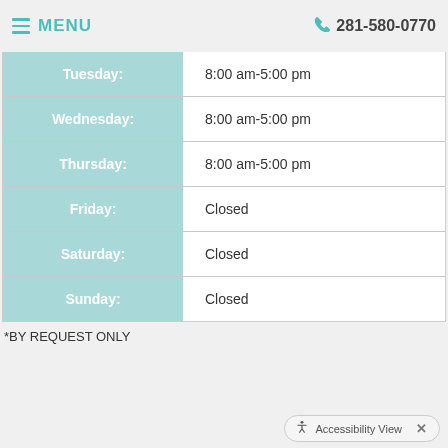MENU   281-580-0770
| Day | Hours |
| --- | --- |
| Tuesday: | 8:00 am-5:00 pm |
| Wednesday: | 8:00 am-5:00 pm |
| Thursday: | 8:00 am-5:00 pm |
| Friday: | Closed |
| Saturday: | Closed |
| Sunday: | Closed |
*BY REQUEST ONLY
Accessibility View